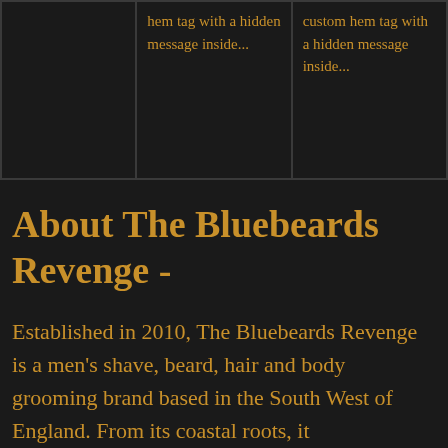[Figure (other): Three-column grid showing product images/text. Left cell is dark/empty. Middle cell shows text: 'hem tag with a hidden message inside...'. Right cell shows text: 'custom hem tag with a hidden message inside...']
About The Bluebeards Revenge -
Established in 2010, The Bluebeards Revenge is a men's shave, beard, hair and body grooming brand based in the South West of England. From its coastal roots, it